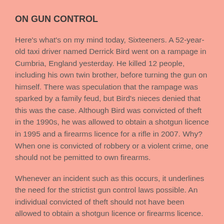ON GUN CONTROL
Here's what's on my mind today, Sixteeners. A 52-year-old taxi driver named Derrick Bird went on a rampage in Cumbria, England yesterday. He killed 12 people, including his own twin brother, before turning the gun on himself. There was speculation that the rampage was sparked by a family feud, but Bird's nieces denied that this was the case. Although Bird was convicted of theft in the 1990s, he was allowed to obtain a shotgun licence in 1995 and a firearms licence for a rifle in 2007. Why? When one is convicted of robbery or a violent crime, one should not be pemitted to own firearms.
Whenever an incident such as this occurs, it underlines the need for the strictist gun control laws possible. An individual convicted of theft should not have been allowed to obtain a shotgun licence or firearms licence.
My views will not make me popular with people in rural areas. They will not endear me to the National Firearms